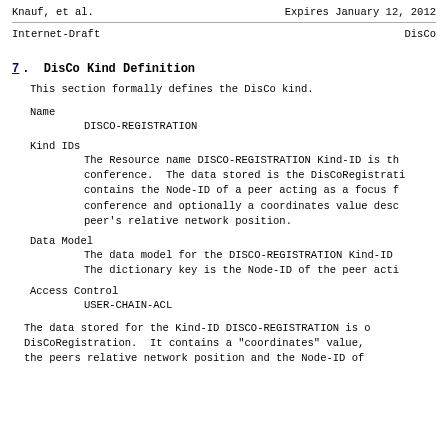Knauf, et al.          Expires January 12, 2012
Internet-Draft                             DisCo
7.  DisCo Kind Definition
This section formally defines the DisCo kind.
Name
      DISCO-REGISTRATION
Kind IDs
      The Resource name DISCO-REGISTRATION Kind-ID is the conference. The data stored is the DisCoRegistrati contains the Node-ID of a peer acting as a focus f conference and optionally a coordinates value desc peer's relative network position.
Data Model
      The data model for the DISCO-REGISTRATION Kind-ID The dictionary key is the Node-ID of the peer acti
Access Control
      USER-CHAIN-ACL
The data stored for the Kind-ID DISCO-REGISTRATION is o DisCoRegistration.  It contains a "coordinates" value, the peers relative network position and the Node-ID of